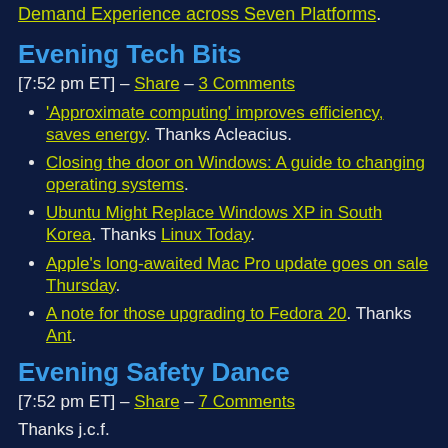Demand Experience across Seven Platforms.
Evening Tech Bits
[7:52 pm ET] – Share – 3 Comments
'Approximate computing' improves efficiency, saves energy. Thanks Acleacius.
Closing the door on Windows: A guide to changing operating systems.
Ubuntu Might Replace Windows XP in South Korea. Thanks Linux Today.
Apple's long-awaited Mac Pro update goes on sale Thursday.
A note for those upgrading to Fedora 20. Thanks Ant.
Evening Safety Dance
[7:52 pm ET] – Share – 7 Comments
Thanks j.c.f.
NSA should stop undermining encryption...